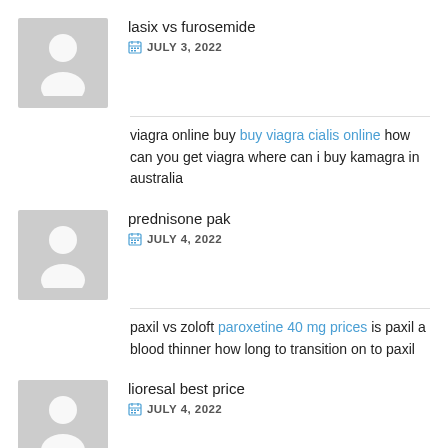lasix vs furosemide — JULY 3, 2022 — viagra online buy buy viagra cialis online how can you get viagra where can i buy kamagra in australia
prednisone pak — JULY 4, 2022 — paxil vs zoloft paroxetine 40 mg prices is paxil a blood thinner how long to transition on to paxil
lioresal best price — JULY 4, 2022